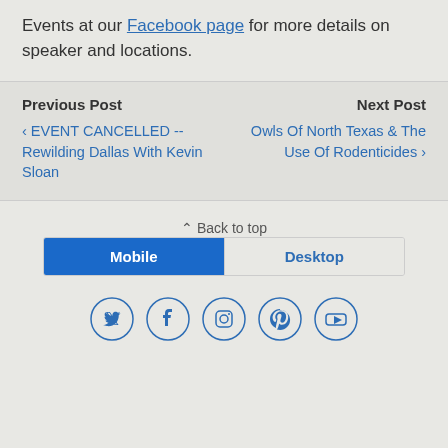Events at our Facebook page for more details on speaker and locations.
Previous Post
‹ EVENT CANCELLED -- Rewilding Dallas With Kevin Sloan
Next Post
Owls Of North Texas & The Use Of Rodenticides ›
⌃ Back to top
Mobile | Desktop
[Figure (infographic): Row of 5 social media icons in circles: Twitter, Facebook, Instagram, Pinterest, YouTube]